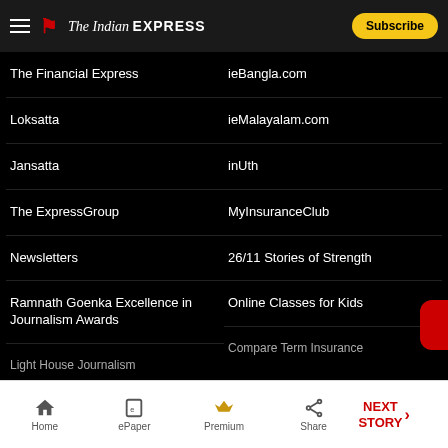The Indian Express — Subscribe
The Financial Express
ieBangla.com
Loksatta
ieMalayalam.com
Jansatta
inUth
The ExpressGroup
MyInsuranceClub
Newsletters
26/11 Stories of Strength
Ramnath Goenka Excellence in Journalism Awards
Online Classes for Kids
Light House Journalism
Compare Term Insurance
Home | ePaper | Premium | Share | NEXT STORY